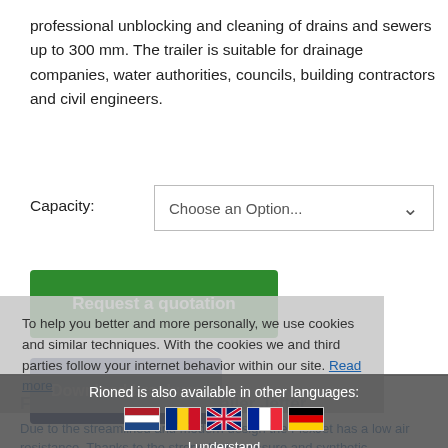professional unblocking and cleaning of drains and sewers up to 300 mm. The trailer is suitable for drainage companies, water authorities, councils, building contractors and civil engineers.
Capacity:
Choose an Option...
Request a quotation
Download brochure
To help you better and more personally, we use cookies and similar techniques. With the cookies we and third parties follow your internet behavior within our site. Read more
FlexJet High-Pressure Trailer Jetter
Due to the streamlined and modern design the FlexJet has a low air resistance. Thanks to the strong high pressure and synthetic
Rioned is also available in other languages:
I understand